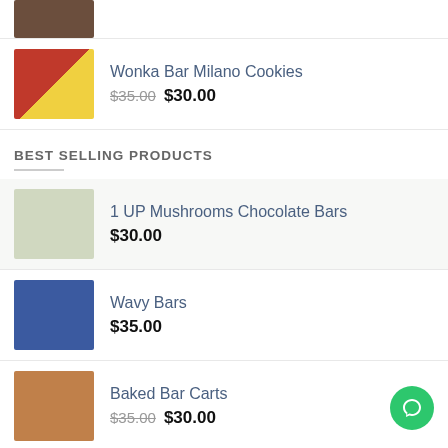[Figure (photo): Partial product image at top of page (cropped), brown/dark toned package]
Wonka Bar Milano Cookies — $35.00 (strikethrough) $30.00
BEST SELLING PRODUCTS
1 UP Mushrooms Chocolate Bars — $30.00
Wavy Bars — $35.00
Baked Bar Carts — $35.00 (strikethrough) $30.00
Wonka Bar Cookies n Cream